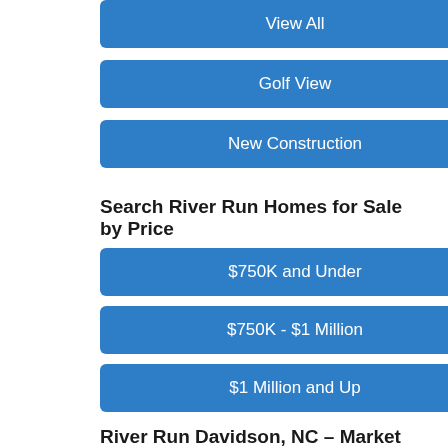View All
Golf View
New Construction
Search River Run Homes for Sale by Price
$750K and Under
$750K - $1 Million
$1 Million and Up
River Run Davidson, NC – Market Report
Click here for a market report with the most up-to-date information on real estate in River Run.